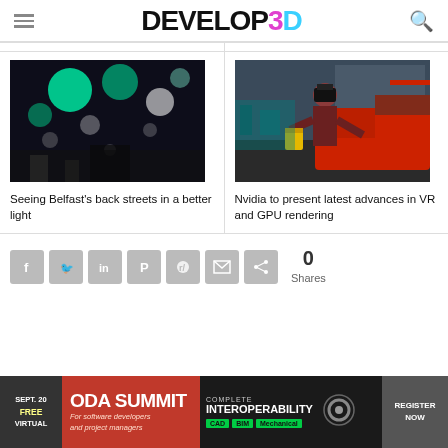DEVELOP3D
[Figure (photo): Dark bokeh photo of glowing spheres - Belfast back streets at night]
Seeing Belfast's back streets in a better light
[Figure (photo): Person wearing VR headset standing next to a red car in industrial setting]
Nvidia to present latest advances in VR and GPU rendering
[Figure (other): Social share buttons: Facebook, Twitter, LinkedIn, Pinterest, Reddit, Email, Share. 0 Shares]
[Figure (other): ODA Summit advertisement banner - SEPT. 20 FREE VIRTUAL - ODA SUMMIT For software developers and project managers - COMPLETE INTEROPERABILITY CAD BIM Mechanical - REGISTER NOW]